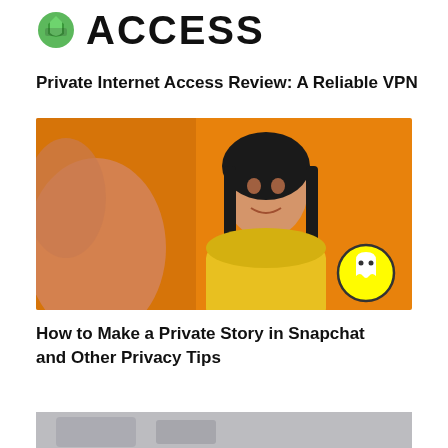[Figure (logo): Private Internet Access logo — green shield icon with 'ACCESS' text in large black letters]
Private Internet Access Review: A Reliable VPN
[Figure (photo): Young Asian woman in yellow sweater smiling against orange background, with Snapchat ghost logo overlaid in bottom right corner]
How to Make a Private Story in Snapchat and Other Privacy Tips
[Figure (photo): Partially visible image at the bottom of the page]